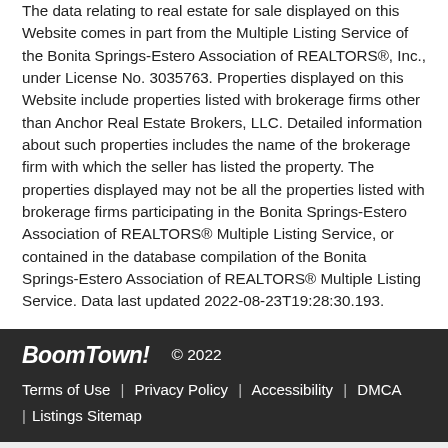The data relating to real estate for sale displayed on this Website comes in part from the Multiple Listing Service of the Bonita Springs-Estero Association of REALTORS®, Inc., under License No. 3035763. Properties displayed on this Website include properties listed with brokerage firms other than Anchor Real Estate Brokers, LLC. Detailed information about such properties includes the name of the brokerage firm with which the seller has listed the property. The properties displayed may not be all the properties listed with brokerage firms participating in the Bonita Springs-Estero Association of REALTORS® Multiple Listing Service, or contained in the database compilation of the Bonita Springs-Estero Association of REALTORS® Multiple Listing Service. Data last updated 2022-08-23T19:28:30.193.
BoomTown! © 2022 | Terms of Use | Privacy Policy | Accessibility | DMCA | Listings Sitemap
Take a Tour   Ask A Question